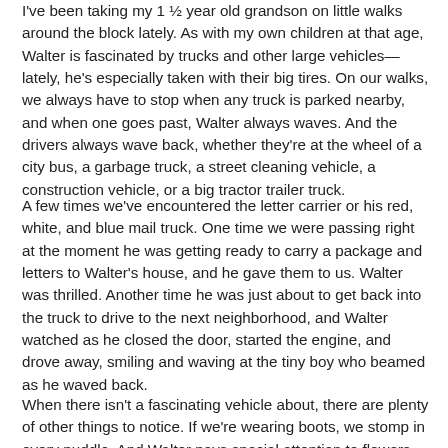I've been taking my 1 ½ year old grandson on little walks around the block lately. As with my own children at that age, Walter is fascinated by trucks and other large vehicles—lately, he's especially taken with their big tires. On our walks, we always have to stop when any truck is parked nearby, and when one goes past, Walter always waves. And the drivers always wave back, whether they're at the wheel of a city bus, a garbage truck, a street cleaning vehicle, a construction vehicle, or a big tractor trailer truck.
A few times we've encountered the letter carrier or his red, white, and blue mail truck. One time we were passing right at the moment he was getting ready to carry a package and letters to Walter's house, and he gave them to us. Walter was thrilled. Another time he was just about to get back into the truck to drive to the next neighborhood, and Walter watched as he closed the door, started the engine, and drove away, smiling and waving at the tiny boy who beamed as he waved back.
When there isn't a fascinating vehicle about, there are plenty of other things to notice. If we're wearing boots, we stomp in every puddle. And Walter pays special attention to flowers.